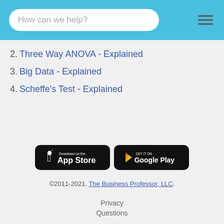How can we help?
2. Three Way ANOVA - Explained
3. Big Data - Explained
4. Scheffe's Test - Explained
[Figure (other): Download on the App Store button and Get it on Google Play button]
©2011-2021. The Business Professor, LLC.
Privacy
Questions